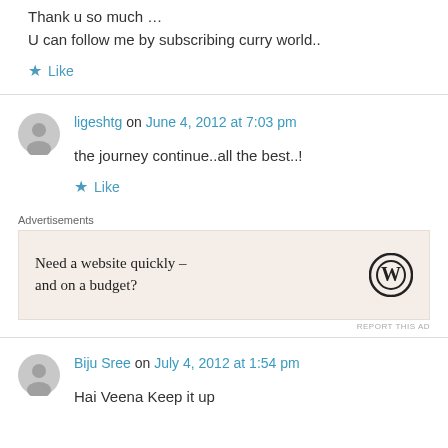Thank u so much …
U can follow me by subscribing curry world..
★ Like
ligeshtg on June 4, 2012 at 7:03 pm
the journey continue..all the best..!
★ Like
Advertisements
[Figure (other): WordPress advertisement: Need a website quickly – and on a budget? with WordPress logo]
REPORT THIS AD
Biju Sree on July 4, 2012 at 1:54 pm
Hai Veena Keep it up